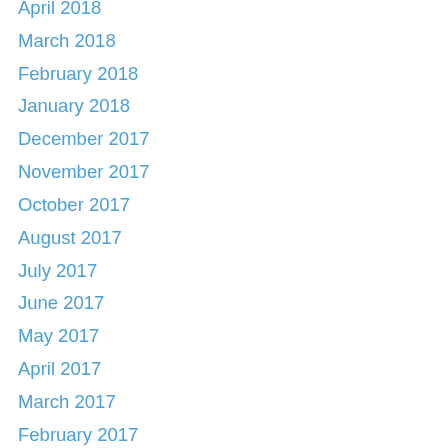April 2018
March 2018
February 2018
January 2018
December 2017
November 2017
October 2017
August 2017
July 2017
June 2017
May 2017
April 2017
March 2017
February 2017
January 2017
December 2016
November 2016
October 2016
September 2016
August 2016